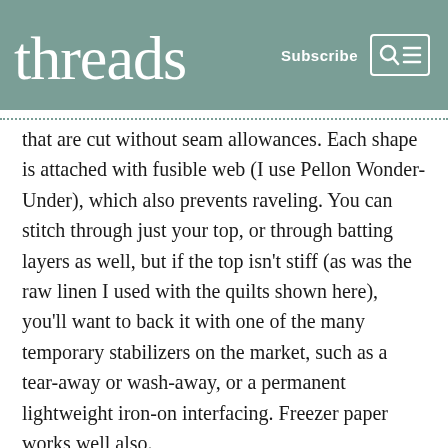threads  Subscribe
that are cut without seam allowances. Each shape is attached with fusible web (I use Pellon Wonder-Under), which also prevents raveling. You can stitch through just your top, or through batting layers as well, but if the top isn't stiff (as was the raw linen I used with the quilts shown here), you'll want to back it with one of the many temporary stabilizers on the market, such as a tear-away or wash-away, or a permanent lightweight iron-on interfacing. Freezer paper works well also.
I like to prepare for free-motion appliqué by both sketching out possible paths I might follow and warming up with practice stitching on scraps. For the